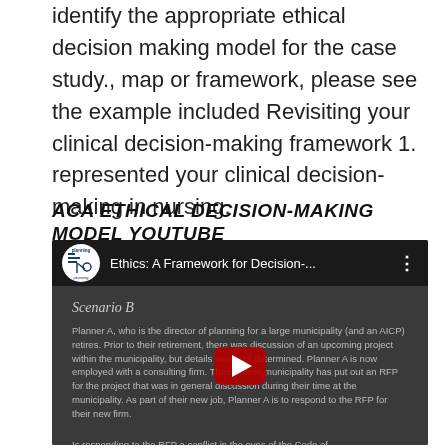identify the appropriate ethical decision making model for the case study., map or framework, please see the example included Revisiting your clinical decision-making framework 1. represented your clinical decision-making in nursing.
ACA ETHICAL DECISION-MAKING MODEL YOUTUBE
[Figure (screenshot): YouTube video thumbnail showing 'Ethics: A Framework for Decision-...' from the planning channel. The video shows a slide with 'Scenario B' and text about Planner A, with the YouTube play button overlay in the center.]